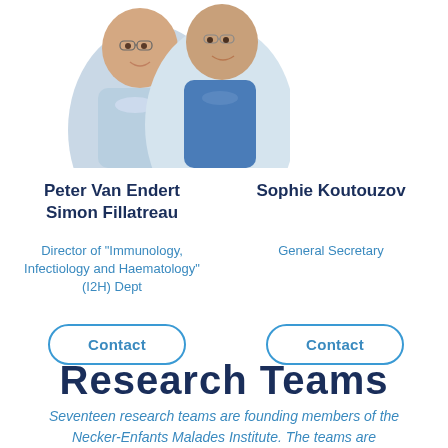[Figure (photo): Two men photographed together with circular/oval crop — one in foreground left, one slightly behind right, both smiling]
Peter Van Endert
Simon Fillatreau
Sophie Koutouzov
Director of "Immunology, Infectiology and Haematology" (I2H) Dept
General Secretary
Contact
Contact
Research Teams
Seventeen research teams are founding members of the Necker-Enfants Malades Institute. The teams are